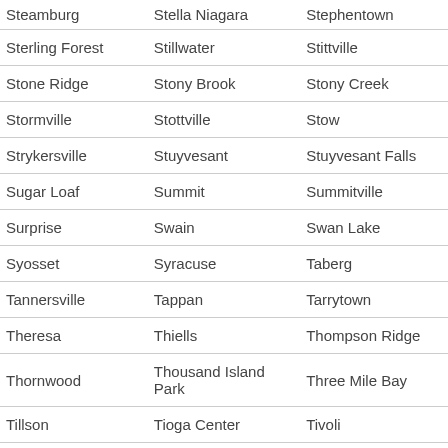| Steamburg | Stella Niagara | Stephentown |
| Sterling Forest | Stillwater | Stittville |
| Stone Ridge | Stony Brook | Stony Creek |
| Stormville | Stottville | Stow |
| Strykersville | Stuyvesant | Stuyvesant Falls |
| Sugar Loaf | Summit | Summitville |
| Surprise | Swain | Swan Lake |
| Syosset | Syracuse | Taberg |
| Tannersville | Tappan | Tarrytown |
| Theresa | Thiells | Thompson Ridge |
| Thornwood | Thousand Island Park | Three Mile Bay |
| Tillson | Tioga Center | Tivoli |
| Tonawanda | Treadwell | Tribes Hill |